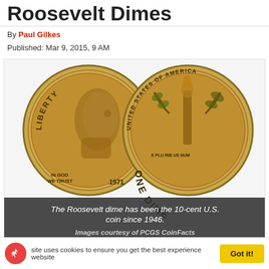Roosevelt Dimes
By Paul Gilkes
Published: Mar 9, 2015, 9 AM
[Figure (photo): Two Roosevelt dimes shown side by side: obverse (front) showing Franklin D. Roosevelt's profile with text LIBERTY, IN GOD WE TRUST, and 1971; reverse showing torch, olive branch, oak branch with text UNITED STATES OF AMERICA, E PLURIBUS UNUM, ONE DIME]
The Roosevelt dime has been the 10-cent U.S. coin since 1946. Images courtesy of PCGS CoinFacts
site uses cookies to ensure you get the best experience website